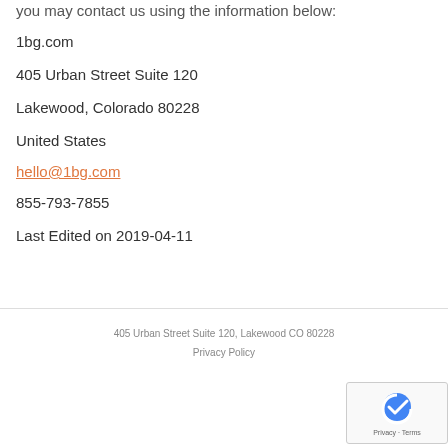you may contact us using the information below:
1bg.com
405 Urban Street Suite 120
Lakewood, Colorado 80228
United States
hello@1bg.com
855-793-7855
Last Edited on 2019-04-11
405 Urban Street Suite 120, Lakewood CO 80228
Privacy Policy